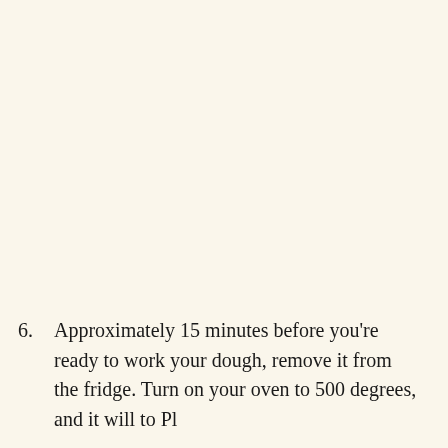6. Approximately 15 minutes before you're ready to work your dough, remove it from the fridge. Turn on your oven to 500 degrees, and the oven it will to Pl...